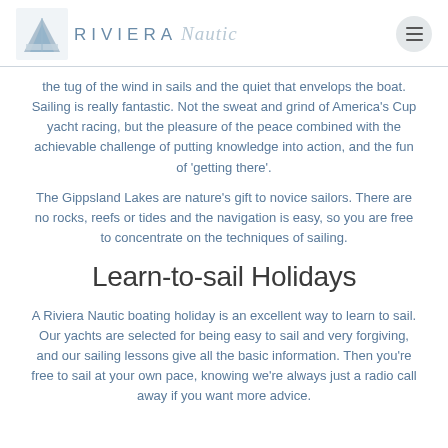RIVIERA Nautic
the tug of the wind in sails and the quiet that envelops the boat. Sailing is really fantastic. Not the sweat and grind of America's Cup yacht racing, but the pleasure of the peace combined with the achievable challenge of putting knowledge into action, and the fun of 'getting there'.
The Gippsland Lakes are nature's gift to novice sailors. There are no rocks, reefs or tides and the navigation is easy, so you are free to concentrate on the techniques of sailing.
Learn-to-sail Holidays
A Riviera Nautic boating holiday is an excellent way to learn to sail. Our yachts are selected for being easy to sail and very forgiving, and our sailing lessons give all the basic information. Then you're free to sail at your own pace, knowing we're always just a radio call away if you want more advice.